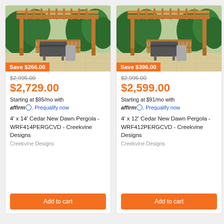[Figure (photo): Cedar pergola with grill in outdoor patio setting with trees and fence background – product 1]
Save $266.00
$2,995.00 (strikethrough)
$2,729.00
Starting at $95/mo with affirm. Prequalify now
4' x 14' Cedar New Dawn Pergola - WRF414PERGCVD - Creekvine Designs
Creekvine Designs
Add to cart
[Figure (photo): Cedar pergola with grill in outdoor patio setting with trees and fence background – product 2]
Save $396.00
$2,995.00 (strikethrough)
$2,599.00
Starting at $91/mo with affirm. Prequalify now
4' x 12' Cedar New Dawn Pergola - WRF412PERGCVD - Creekvine Designs
Creekvine Designs
Add to cart